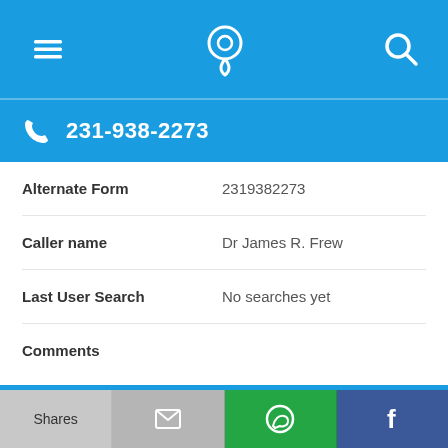Navigation bar with menu, phone/location, and search icons
231-938-2273
| Field | Value |
| --- | --- |
| Alternate Form | 2319382273 |
| Caller name | Dr James R. Frew |
| Last User Search | No searches yet |
| Comments |  |
231-938-2127
Shares | Email | WhatsApp | Facebook